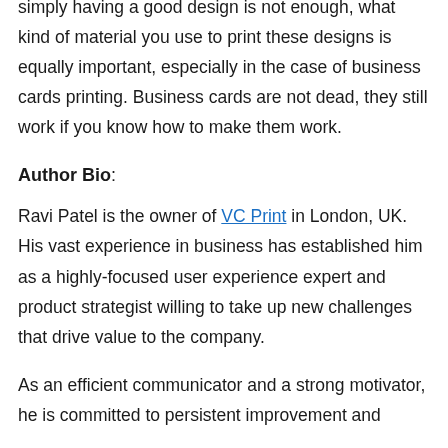designs and ideas will probably go to waste because simply having a good design is not enough, what kind of material you use to print these designs is equally important, especially in the case of business cards printing. Business cards are not dead, they still work if you know how to make them work.
Author Bio:
Ravi Patel is the owner of VC Print in London, UK. His vast experience in business has established him as a highly-focused user experience expert and product strategist willing to take up new challenges that drive value to the company.
As an efficient communicator and a strong motivator, he is committed to persistent improvement and